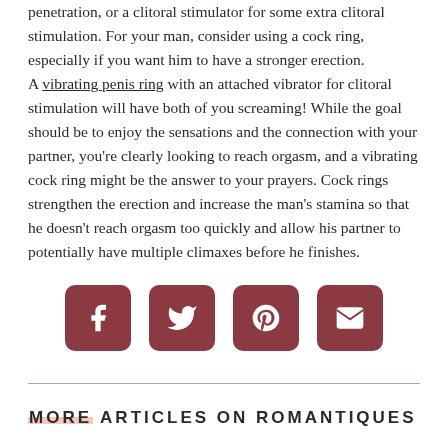penetration, or a clitoral stimulator for some extra clitoral stimulation. For your man, consider using a cock ring, especially if you want him to have a stronger erection. A vibrating penis ring with an attached vibrator for clitoral stimulation will have both of you screaming! While the goal should be to enjoy the sensations and the connection with your partner, you're clearly looking to reach orgasm, and a vibrating cock ring might be the answer to your prayers. Cock rings strengthen the erection and increase the man's stamina so that he doesn't reach orgasm too quickly and allow his partner to potentially have multiple climaxes before he finishes.
[Figure (other): Four social media share buttons (Facebook, Twitter, Pinterest, Email) in dark rose/mauve color with rounded corners]
MORE ARTICLES ON ROMANTIQUES